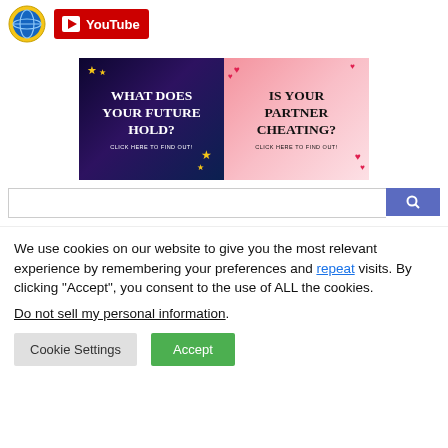[Figure (logo): Circular globe/world logo icon in blue/gold]
[Figure (logo): YouTube red button with play icon and YouTube text]
[Figure (illustration): Two banner ads side by side. Left: dark purple/blue starry background with text 'What Does Your Future Hold? Click Here To Find Out!'. Right: pink bokeh background with text 'Is Your Partner Cheating? Click Here To Find Out!']
[Figure (screenshot): Partial search bar with blue search button on the right]
We use cookies on our website to give you the most relevant experience by remembering your preferences and repeat visits. By clicking “Accept”, you consent to the use of ALL the cookies.
Do not sell my personal information.
Cookie Settings
Accept